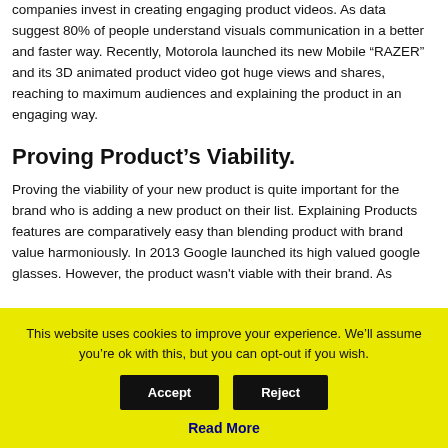companies invest in creating engaging product videos. As data suggest 80% of people understand visuals communication in a better and faster way. Recently, Motorola launched its new Mobile “RAZER” and its 3D animated product video got huge views and shares, reaching to maximum audiences and explaining the product in an engaging way.
Proving Product’s Viability.
Proving the viability of your new product is quite important for the brand who is adding a new product on their list. Explaining Products features are comparatively easy than blending product with brand value harmoniously. In 2013 Google launched its high valued google glasses. However, the product wasn't viable with their brand. As
This website uses cookies to improve your experience. We’ll assume you’re ok with this, but you can opt-out if you wish.
Read More